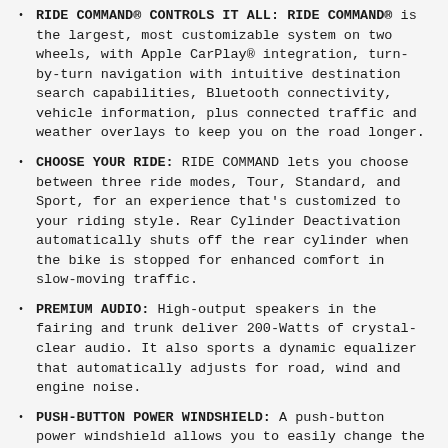RIDE COMMAND® CONTROLS IT ALL: RIDE COMMAND® is the largest, most customizable system on two wheels, with Apple CarPlay® integration, turn-by-turn navigation with intuitive destination search capabilities, Bluetooth connectivity, vehicle information, plus connected traffic and weather overlays to keep you on the road longer.
CHOOSE YOUR RIDE: RIDE COMMAND lets you choose between three ride modes, Tour, Standard, and Sport, for an experience that's customized to your riding style. Rear Cylinder Deactivation automatically shuts off the rear cylinder when the bike is stopped for enhanced comfort in slow-moving traffic.
PREMIUM AUDIO: High-output speakers in the fairing and trunk deliver 200-Watts of crystal-clear audio. It also sports a dynamic equalizer that automatically adjusts for road, wind and engine noise.
PUSH-BUTTON POWER WINDSHIELD: A push-button power windshield allows you to easily change the height. Keep it low for wind in your face or raise it up to cruise in comfort.